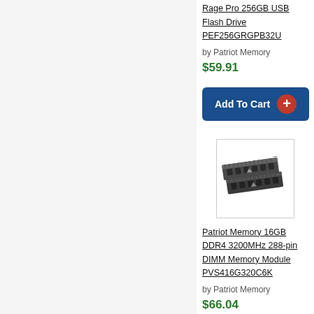Rage Pro 256GB USB Flash Drive PEF256GRGPB32U
by Patriot Memory
$59.91
[Figure (screenshot): Add To Cart button with plus circle icon]
[Figure (photo): Patriot Memory DDR4 RAM sticks product photo]
Patriot Memory 16GB DDR4 3200MHz 288-pin DIMM Memory Module PVS416G320C6K
by Patriot Memory
$66.04
[Figure (screenshot): Add To Cart button with plus circle icon]
Pa... 2x... 28... PV...
by
$7...